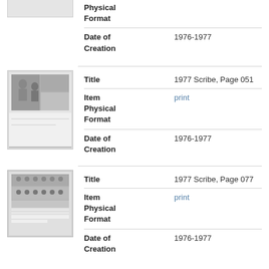Physical Format
Date of Creation	1976-1977
[Figure (photo): Thumbnail of 1977 Scribe Page 051 showing people in yearbook format]
Title	1977 Scribe, Page 051
Item Physical Format	print
Date of Creation	1976-1977
[Figure (photo): Thumbnail of 1977 Scribe Page 077 showing group/team photo]
Title	1977 Scribe, Page 077
Item Physical Format	print
Date of Creation	1976-1977